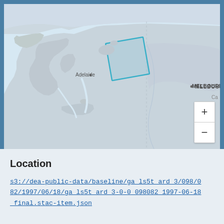[Figure (map): Interactive web map showing southern Australia including Adelaide and Melbourne. A teal/blue outlined rectangle marks a selected region in Spencer Gulf/Kangaroo Island area north of Adelaide. Zoom in (+) and zoom out (-) controls visible at bottom right.]
Location
s3://dea-public-data/baseline/ga_ls5t_ard_3/098/082/1997/06/18/ga_ls5t_ard_3-0-0_098082_1997-06-18_final.stac-item.json